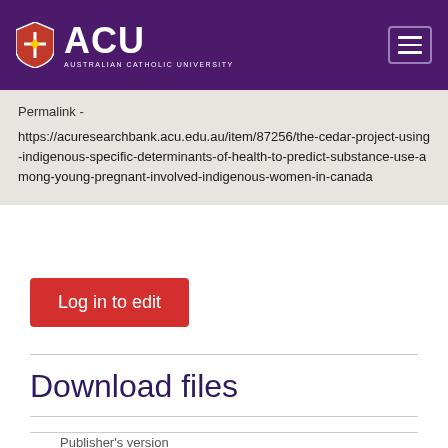ACU AUSTRALIAN CATHOLIC UNIVERSITY
Permalink -
https://acuresearchbank.acu.edu.au/item/87256/the-cedar-project-using-indigenous-specific-determinants-of-health-to-predict-substance-use-among-young-pregnant-involved-indigenous-women-in-canada
Log in to edit
Download files
Publisher's version